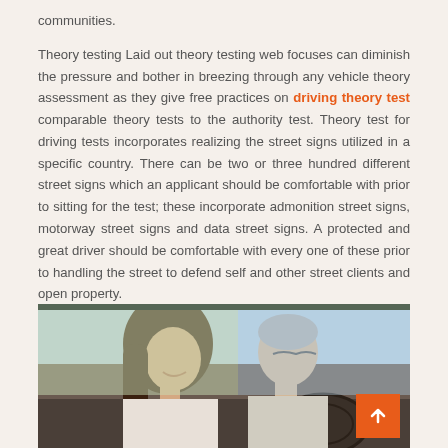communities.
Theory testing Laid out theory testing web focuses can diminish the pressure and bother in breezing through any vehicle theory assessment as they give free practices on driving theory test comparable theory tests to the authority test. Theory test for driving tests incorporates realizing the street signs utilized in a specific country. There can be two or three hundred different street signs which an applicant should be comfortable with prior to sitting for the test; these incorporate admonition street signs, motorway street signs and data street signs. A protected and great driver should be comfortable with every one of these prior to handling the street to defend self and other street clients and open property.
[Figure (photo): A young woman with long dark hair smiling inside a car, with an older man visible on the passenger side, appears to be a driving lesson scene.]